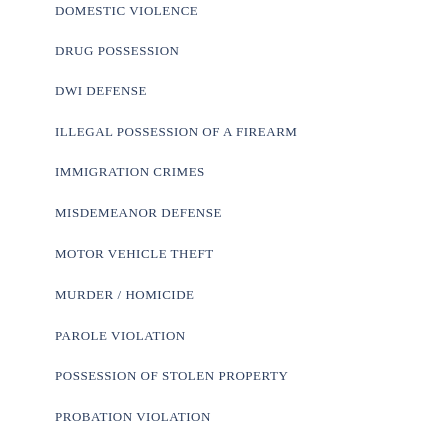DOMESTIC VIOLENCE
DRUG POSSESSION
DWI DEFENSE
ILLEGAL POSSESSION OF A FIREARM
IMMIGRATION CRIMES
MISDEMEANOR DEFENSE
MOTOR VEHICLE THEFT
MURDER / HOMICIDE
PAROLE VIOLATION
POSSESSION OF STOLEN PROPERTY
PROBATION VIOLATION